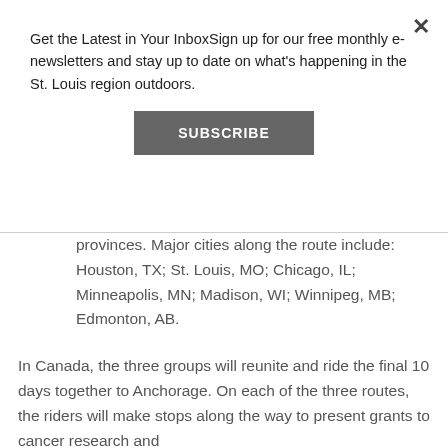Get the Latest in Your InboxSign up for our free monthly e-newsletters and stay up to date on what's happening in the St. Louis region outdoors.
SUBSCRIBE
provinces. Major cities along the route include: Houston, TX; St. Louis, MO; Chicago, IL; Minneapolis, MN; Madison, WI; Winnipeg, MB; Edmonton, AB.
In Canada, the three groups will reunite and ride the final 10 days together to Anchorage. On each of the three routes, the riders will make stops along the way to present grants to cancer research and